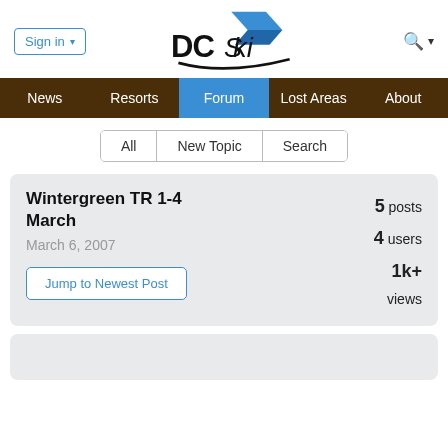Sign in | DCski | Search
News | Resorts | Forum | Lost Areas | About
All | New Topic | Search
Wintergreen TR 1-4 March
March 6, 2007
5 posts
4 users
1k+ views
Jump to Newest Post